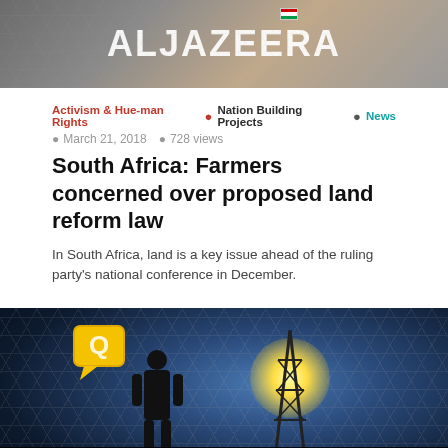[Figure (photo): Al Jazeera logo/header image with grey and tan tones, showing the Al Jazeera network branding]
Activism & Hue-man Rights • Nation Building Projects • News
• March 21, 2018  • 728 views
South Africa: Farmers concerned over proposed land reform law
In South Africa, land is a key issue ahead of the ruling party's national conference in December.
[Figure (photo): Dark silhouette image of a man standing near a transmission tower against a bright sky, with a yellow speech bubble icon. Text overlay reads 'A MISSION TO PROVIDE CHEAP WIND ENERGY']